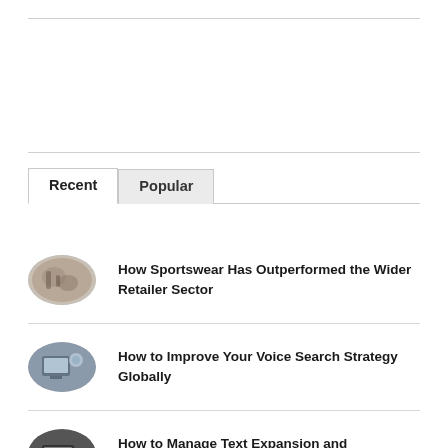Recent
Popular
How Sportswear Has Outperformed the Wider Retailer Sector
How to Improve Your Voice Search Strategy Globally
How to Manage Text Expansion and Contraction in Translation